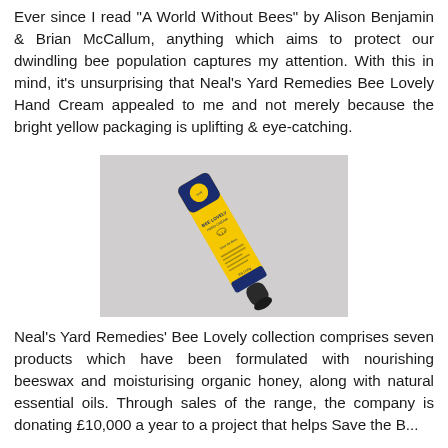Ever since I read "A World Without Bees" by Alison Benjamin & Brian McCallum, anything which aims to protect our dwindling bee population captures my attention. With this in mind, it's unsurprising that Neal's Yard Remedies Bee Lovely Hand Cream appealed to me and not merely because the bright yellow packaging is uplifting & eye-catching.
[Figure (photo): Photo of Neal's Yard Remedies Bee Lovely Hand Cream tube, yellow with blue cap and honeycomb pattern, lying diagonally on a light grey background.]
Neal's Yard Remedies' Bee Lovely collection comprises seven products which have been formulated with nourishing beeswax and moisturising organic honey, along with natural essential oils. Through sales of the range, the company is donating £10,000 a year to a project that helps Save the B...